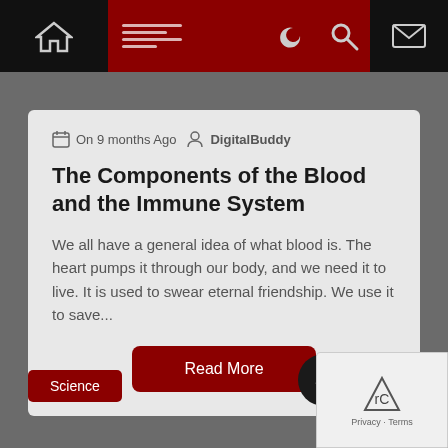Navigation bar with home icon, menu icon, dark mode toggle, search icon, and mail icon
On 9 months Ago   DigitalBuddy
The Components of the Blood and the Immune System
We all have a general idea of what blood is. The heart pumps it through our body, and we need it to live. It is used to swear eternal friendship. We use it to save...
Read More
Science